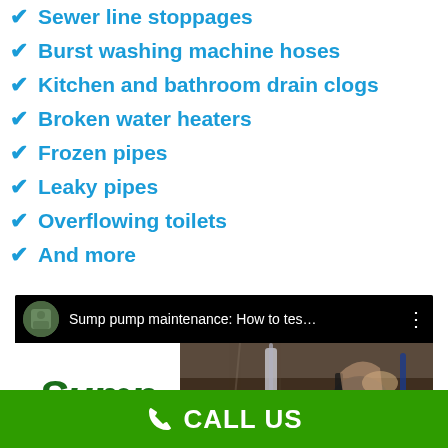Sewer line stoppages
Burst washing machine hoses
Kitchen and bathroom drain clogs
Broken water heaters
Frozen pipes
Leaky pipes
Overflowing toilets
And more
[Figure (screenshot): Video thumbnail showing 'Sump pump maintenance: How to tes...' with a person's hand holding a device and the word 'Sump' in green italic text on a white background on the left side.]
CALL US